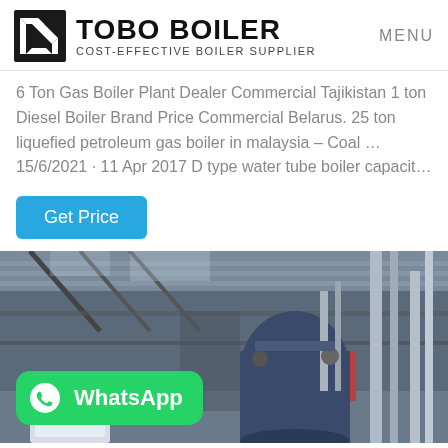TOBO BOILER – COST-EFFECTIVE BOILER SUPPLIER | MENU
6 Ton Gas Boiler Plant Dealer Commercial Tajikistan 1 ton Diesel Boiler Brand Price Commercial Belarus. 25 ton liquefied petroleum gas boiler in malaysia – Coal … 15/6/2021 · 11 Apr 2017 D type water tube boiler capacit…
Get Price
[Figure (photo): Industrial boiler room interior with large cylindrical boilers, pipes, and steel roof structure. A WhatsApp contact badge is overlaid at the bottom left.]